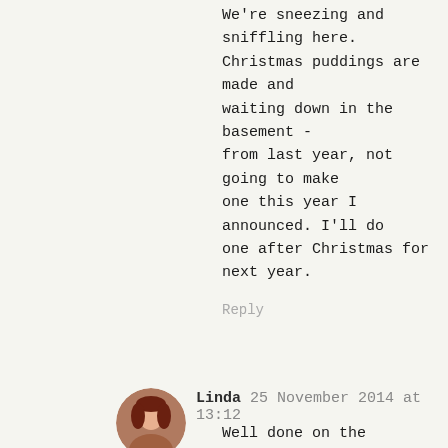We're sneezing and sniffling here. Christmas puddings are made and waiting down in the basement - from last year, not going to make one this year I announced. I'll do one after Christmas for next year.
Reply
Linda 25 November 2014 at 13:12
Well done on the Christmas pudding making! I don't make my own any more, too much steaming! Hope your cough gets better soon, and hope you enjoyed your spa day!
Reply
Lou 25 November 2014 at 19:12
oh Sian - hope that cough goes away soon for you. Sounds like